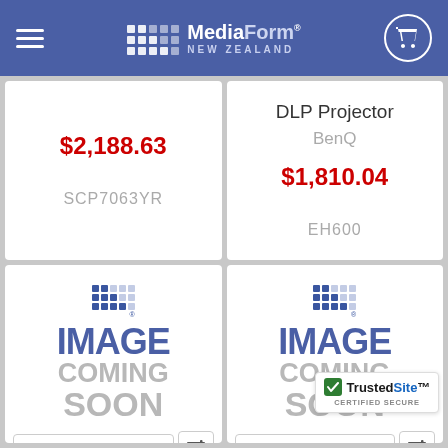MediaForm® NEW ZEALAND
$2,188.63
SCP7063YR
DLP Projector
BenQ
$1,810.04
EH600
[Figure (illustration): IMAGE COMING SOON placeholder with MediaForm logo]
CALL US FOR ETA
Ek 1495fi The All-in-one Hd...
[Figure (illustration): IMAGE COMING SOON placeholder with MediaForm logo]
CALL US FOR ETA
Elpli...
[Figure (logo): TrustedSite CERTIFIED SECURE badge]